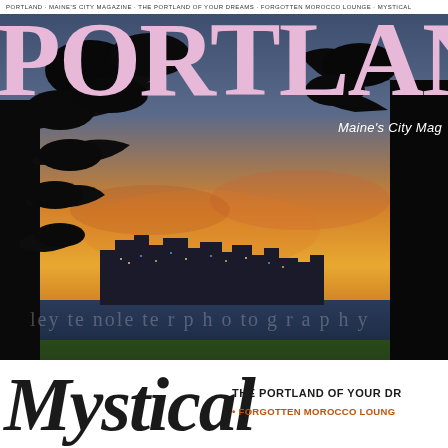PORTLAND MAINE'S CITY MAGAZINE
PORTLAND
Maine's City Mag
[Figure (photo): Twilight/sunset cityscape of Portland, Maine skyline viewed from a park through silhouetted trees, with water in the foreground and glowing orange-yellow sky]
Mystical
THE PORTLAND OF YOUR DR
FORGOTTEN MOROCCO LOUNG